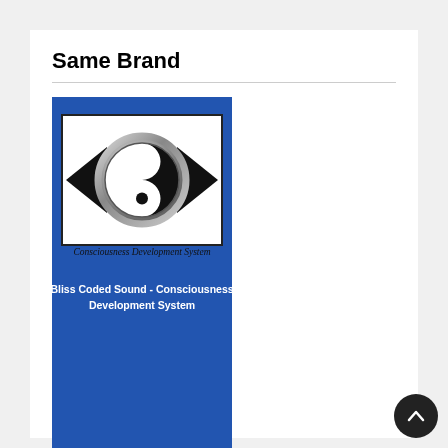Same Brand
[Figure (illustration): Book cover for 'Bliss Coded Sound - Consciousness Development System' by Marcus Knudsen. Blue background with a white inner panel showing an eye-shaped logo with a yin-yang symbol in the center labeled 'Consciousness Development System'. Below the logo panel, white text reads 'Bliss Coded Sound - Consciousness Development System'. At the bottom, a light blue-gray bar reads 'Marcus Knudsen'.]